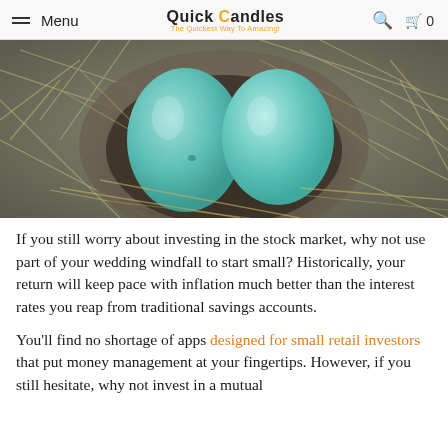Menu | Quick Candles - The Quickest Way To Amazing! | Search | Cart 0
[Figure (photo): Two robin blue eggs resting in a bird's nest made of straw and twigs, viewed from above.]
If you still worry about investing in the stock market, why not use part of your wedding windfall to start small? Historically, your return will keep pace with inflation much better than the interest rates you reap from traditional savings accounts.
You'll find no shortage of apps designed for small retail investors that put money management at your fingertips. However, if you still hesitate, why not invest in a mutual